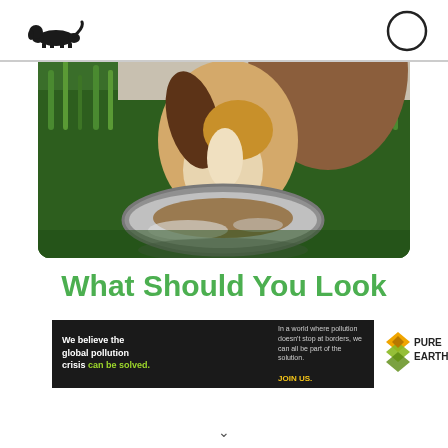[Figure (photo): Beagle dog eating from a silver metal bowl on green grass, viewed from above and front.]
What Should You Look
[Figure (infographic): Pure Earth advertisement banner. Left black section: 'We believe the global pollution crisis can be solved.' Right section: 'In a world where pollution doesn't stop at borders, we can all be part of the solution. JOIN US.' Right white section: Pure Earth logo (diamond/leaf icon) with 'PURE EARTH' text.]